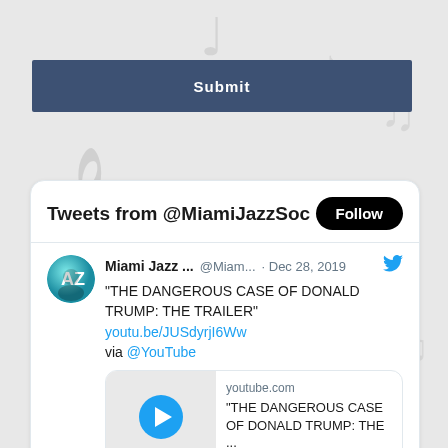[Figure (screenshot): Music note decorative background with treble clef and musical notes in light gray]
Submit
[Figure (screenshot): Twitter widget showing tweets from @MiamiJazzSoc with a Follow button, tweet by Miami Jazz dated Dec 28 2019 about THE DANGEROUS CASE OF DONALD TRUMP: THE TRAILER with a YouTube link preview card]